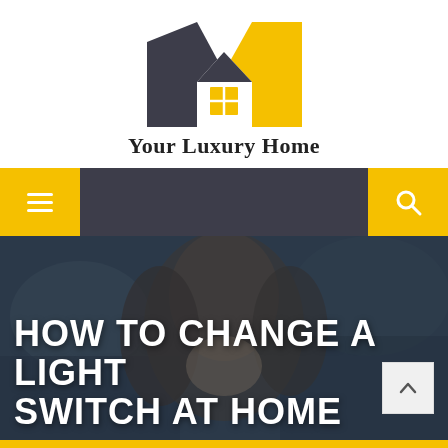[Figure (logo): Your Luxury Home logo: stylized house/letter M shape in dark charcoal and yellow/gold, with a white house silhouette and yellow window grid in the center]
Your Luxury Home
[Figure (screenshot): Navigation bar with yellow hamburger menu button on left, dark gray center, yellow search icon button on right]
[Figure (photo): Dark-tinted hero image of a woman with long brown hair, smiling, with blurred background. Overlay text reads: HOW TO CHANGE A LIGHT SWITCH AT HOME]
HOW TO CHANGE A LIGHT SWITCH AT HOME